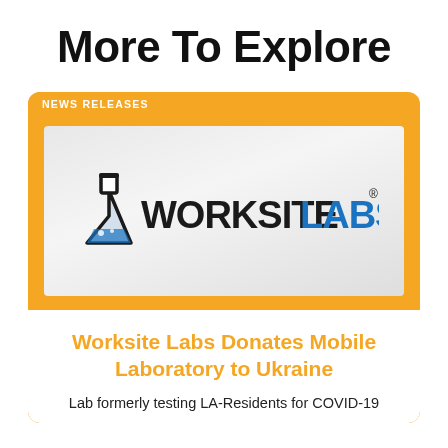More To Explore
[Figure (logo): Worksite Labs logo with orange flask icon, WORKSITE in black bold text and LABS in blue bold text]
NEWS RELEASES
Worksite Labs Donates Mobile Laboratory to Ukraine
Lab formerly testing LA-Residents for COVID-19